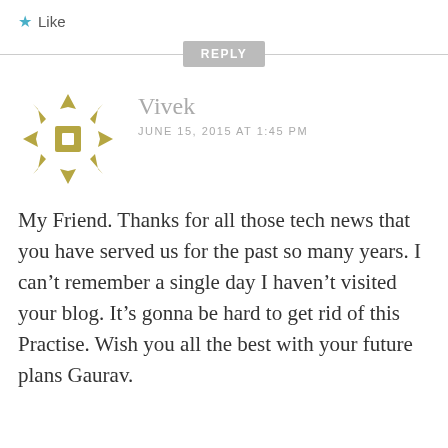★ Like
REPLY
[Figure (logo): Decorative snowflake/star pattern avatar icon in olive/gold color]
Vivek
JUNE 15, 2015 AT 1:45 PM
My Friend. Thanks for all those tech news that you have served us for the past so many years. I can't remember a single day I haven't visited your blog. It's gonna be hard to get rid of this Practise. Wish you all the best with your future plans Gaurav.